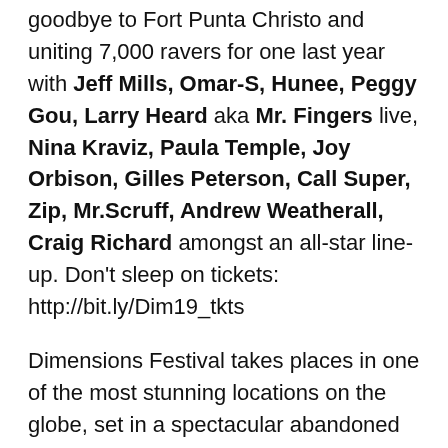goodbye to Fort Punta Christo and uniting 7,000 ravers for one last year with Jeff Mills, Omar-S, Hunee, Peggy Gou, Larry Heard aka Mr. Fingers live, Nina Kraviz, Paula Temple, Joy Orbison, Gilles Peterson, Call Super, Zip, Mr.Scruff, Andrew Weatherall, Craig Richard amongst an all-star line-up. Don't sleep on tickets: http://bit.ly/Dim19_tkts
Dimensions Festival takes places in one of the most stunning locations on the globe, set in a spectacular abandoned fortress. Picture coast-side chilling, sunset beach sessions and exploring the labyrinths of the fort at night. Unique arenas are plentiful, in the fort find Noah's Ballroom,